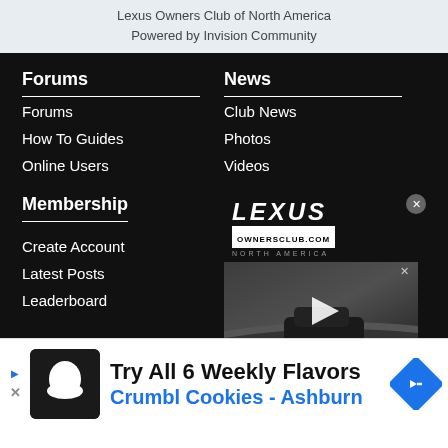Lexus Owners Club of North America
Powered by Invision Community
Forums
Forums
How To Guides
Online Users
News
Club News
Photos
Videos
Membership
Create Account
Latest Posts
Leaderboard
[Figure (logo): Lexus Ownersclub.com North America logo]
[Figure (screenshot): Video overlay showing a Lexus SUV on a road with a play button]
Try All 6 Weekly Flavors
Crumbl Cookies - Ashburn